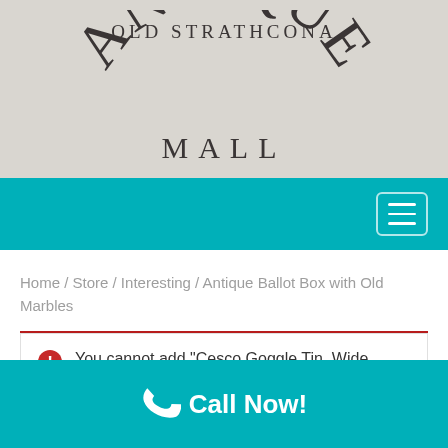[Figure (logo): Old Strathcona Antique Mall logo with arched text on light gray background]
[Figure (other): Teal navigation bar with hamburger menu icon on the right]
Home / Store / Interesting / Antique Ballot Box with Old Marbles
You cannot add "Cesco Goggle Tin, Wide
Call Now!